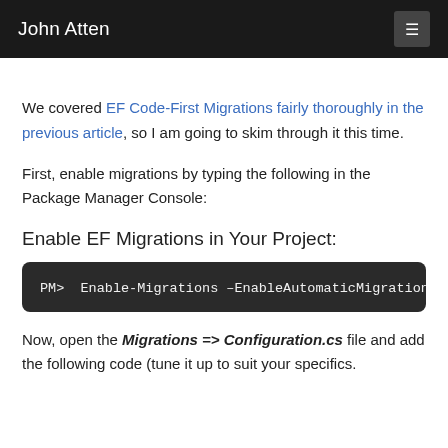John Atten
We covered EF Code-First Migrations fairly thoroughly in the previous article, so I am going to skim through it this time.
First, enable migrations by typing the following in the Package Manager Console:
Enable EF Migrations in Your Project:
Now, open the Migrations => Configuration.cs file and add the following code (tune it up to suit your specifics.